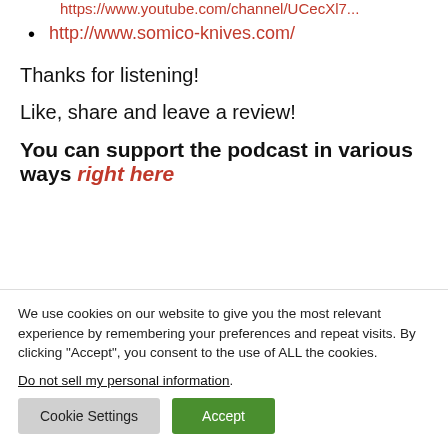https://www.youtube.com/channel/UCecXl7...
http://www.somico-knives.com/
Thanks for listening!
Like, share and leave a review!
You can support the podcast in various ways right here
We use cookies on our website to give you the most relevant experience by remembering your preferences and repeat visits. By clicking “Accept”, you consent to the use of ALL the cookies.
Do not sell my personal information.